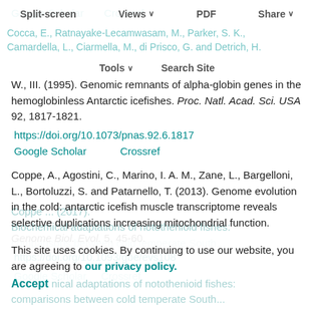Google Scholar   Crossref
Split-screen   Views   PDF   Share
Cocca, E., Ratnayake-Lecamwasam, M., Parker, S. K., Camardella, L., Ciarmella, M., di Prisco, G. and Detrich, H. W., III. (1995). Genomic remnants of alpha-globin genes
Tools   Search Site
in the hemoglobinless Antarctic icefishes. Proc. Natl. Acad. Sci. USA 92, 1817-1821. https://doi.org/10.1073/pnas.92.6.1817
Google Scholar   Crossref
Coppe, A., Agostini, C., Marino, I. A. M., Zane, L., Bargelloni, L., Bortoluzzi, S. and Patarnello, T. (2013). Genome evolution in the cold: antarctic icefish muscle transcriptome reveals selective duplications increasing mitochondrial function. Genome Biol. Evol. 5, 45-60. https://doi.org/10.1093/gbe/evs108
This site uses cookies. By continuing to use our website, you are agreeing to our privacy policy. Accept